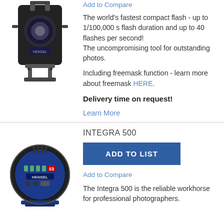[Figure (photo): Camera flash unit, black, viewed from the front/side, with bracket]
Add to Compare
The world's fastest compact flash - up to 1/100,000 s flash duration and up to 40 flashes per second!
The uncompromising tool for outstanding photos.
Including freemask function - learn more about freemask HERE.
Delivery time on request!
Learn More
[Figure (photo): Hensel Integra 500 studio flash unit, blue panel, viewed from the back]
INTEGRA 500
ADD TO LIST
Add to Compare
The Integra 500 is the reliable workhorse for professional photographers.